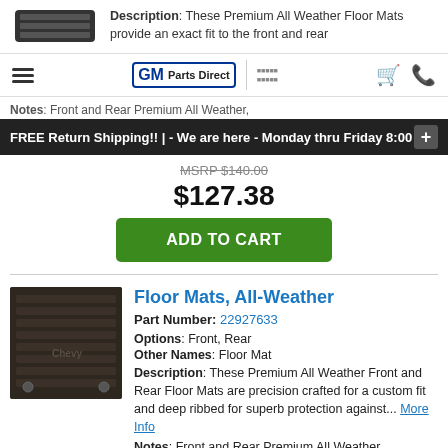[Figure (photo): Top cropped photo of a black rubber floor mat with ridges]
Description: These Premium All Weather Floor Mats provide an exact fit to the front and rear
GM Parts Direct | [logo] [cart icon] [phone icon]
Notes: Front and Rear Premium All Weather,
FREE Return Shipping!! | - We are here - Monday thru Friday 8:00
MSRP $140.00
$127.38
ADD TO CART
Floor Mats, All-Weather
Part Number: 22927633
Options: Front, Rear
Other Names: Floor Mat
Description: These Premium All Weather Front and Rear Floor Mats are precision crafted for a custom fit and deep ribbed for superb protection against... More Info
Notes: Front and Rear Premium All Weather.
MSRP $140.00
[Figure (photo): Photo of dark brown all-weather floor mat inside a vehicle]